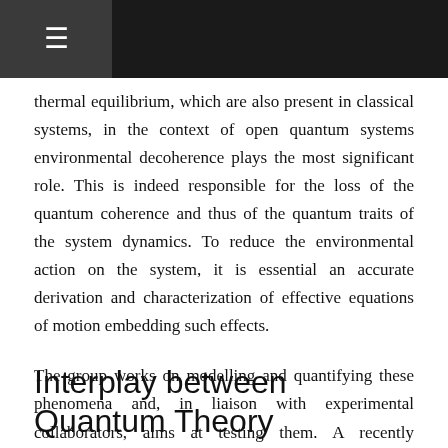☰
thermal equilibrium, which are also present in classical systems, in the context of open quantum systems environmental decoherence plays the most significant role. This is indeed responsible for the loss of the quantum coherence and thus of the quantum traits of the system dynamics. To reduce the environmental action on the system, it is essential an accurate derivation and characterization of effective equations of motion embedding such effects.
The group works on modelling and quantifying these phenomena and, in liaison with experimental collaborators, aims at testing them. A recently developed model concerns gravitational decoherence [10], where gravity plays the role of the environment causing the loss of quantum coherence.
Interplay between Quantum Theory